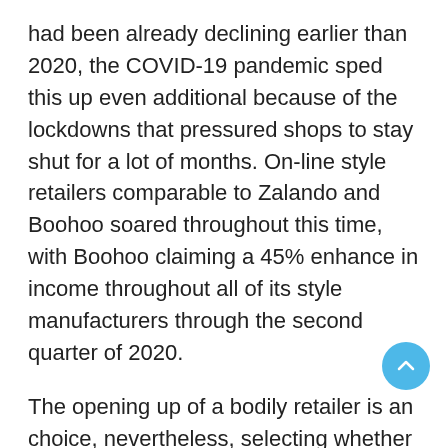had been already declining earlier than 2020, the COVID-19 pandemic sped this up even additional because of the lockdowns that pressured shops to stay shut for a lot of months. On-line style retailers comparable to Zalando and Boohoo soared throughout this time, with Boohoo claiming a 45% enhance in income throughout all of its style manufacturers through the second quarter of 2020.
The opening up of a bodily retailer is an choice, nevertheless, selecting whether or not or to not have a web site in your style model shouldn't be. Main customers again to your web site would be the objective of all your digital advertising efforts. So having a fantastic web site that appears superb, is simple to navigate, up-to-date, well-branded and useful is the important thing place to begin to your style advertising